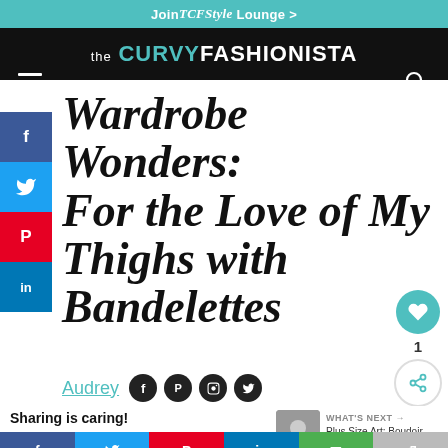Join TCFStyle Lounge >
the CURVY FASHIONISTA
Wardrobe Wonders: For the Love of My Thighs with Bandelettes
Audrey
Sharing is caring!
WHAT'S NEXT → Plus Size Art: Boudoir Plu...